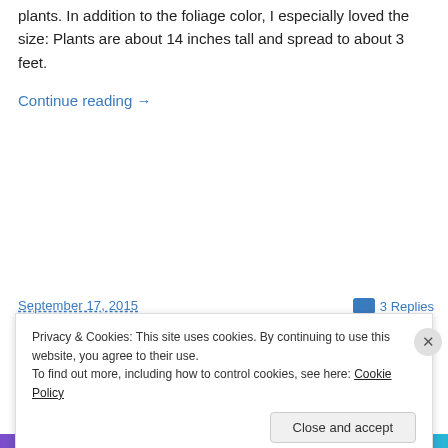plants. In addition to the foliage color, I especially loved the size: Plants are about 14 inches tall and spread to about 3 feet.
Continue reading →
September 17, 2015
3 Replies
Privacy & Cookies: This site uses cookies. By continuing to use this website, you agree to their use.
To find out more, including how to control cookies, see here: Cookie Policy
Close and accept